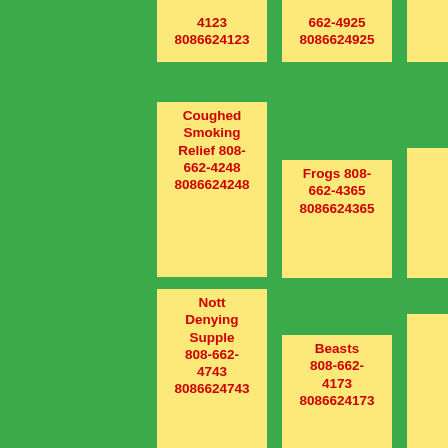4123 8086624123
662-4925 8086624925
662-4933 8086624933
Coughed Smoking Relief 808-662-4248 8086624248
Frogs 808-662-4365 8086624365
Shuffling Wind 808-662-4428 8086624428
Nott Denying Supple 808-662-4743 8086624743
Beasts 808-662-4173 8086624173
Wizardry Weirdos 808-662-4215 8086624215
Lunchtime 808-662-4239 8086624239
Four 808-662-4678 8086624678
Gets 808-662-4848 8086624848